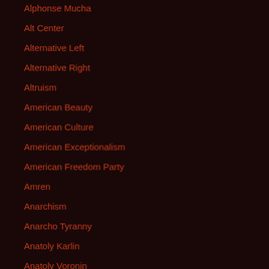Alphonse Mucha
Alt Center
Alternative Left
Alternative Right
Altruism
American Beauty
American Culture
American Exceptionalism
American Freedom Party
Amren
Anarchism
Anarcho Tyranny
Anatoly Karlin
Anatoly Voronin
Ancient Greece